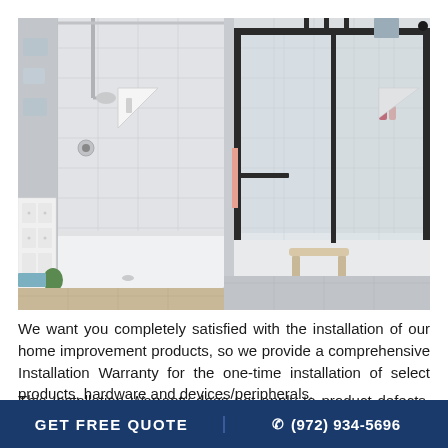[Figure (photo): Two bathroom shower photos side by side. Left: a white open shower stall with white tile walls, a corner shelf, a chrome shower fixture, hardwood floor, white dresser, and wall art. Right: a shower with black-framed sliding glass doors, a pink towel on a bar, a small stool, a dark bath mat, and grooming products on a shelf.]
We want you completely satisfied with the installation of our home improvement products, so we provide a comprehensive Installation Warranty for the one-time installation of select products, hardware and devices/peripherals.
This Installation Warranty does not apply to product defects. Product defects are covered under the applicable product
GET FREE QUOTE   ☎ (972) 934-5696